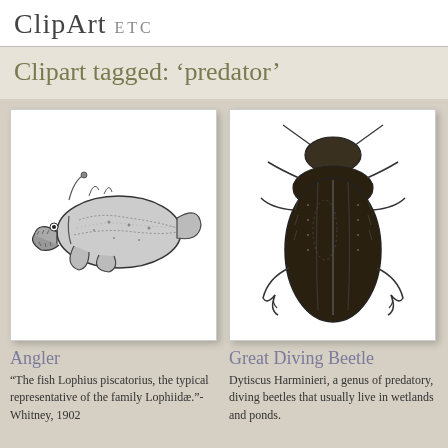ClipArt ETC
Clipart tagged: ‘predator’
[Figure (illustration): Black and white engraving of an angler fish (Lophius piscatorius), side view, showing large flat head with lure appendage, wide mouth, and mottled body with fins.]
Angler
“The fish Lophius piscatorius, the typical representative of the family Lophiidæ.”-Whitney, 1902
[Figure (illustration): Black and white engraving of a Great Diving Beetle (Dytiscus Harminieri) seen from above, showing oval dark body with stripes, antennae, and prominent front claws.]
Great Diving Beetle
Dytiscus Harminieri, a genus of predatory, diving beetles that usually live in wetlands and ponds.